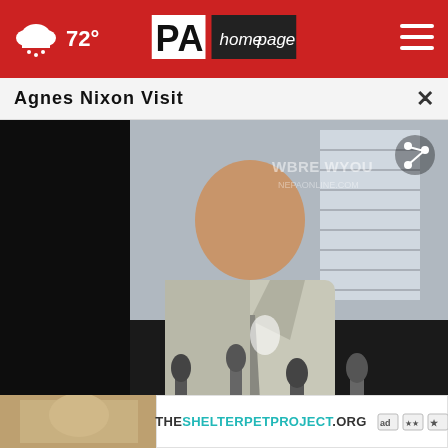72° PA homepage
Agnes Nixon Visit
[Figure (screenshot): Video still showing a man in a suit speaking into microphones, with WBRE WYOU watermark and share icon visible]
Camera
[Figure (infographic): Advertisement banner: THESHELTERPETPROJECT.ORG with Ad Council and affiliated logos]